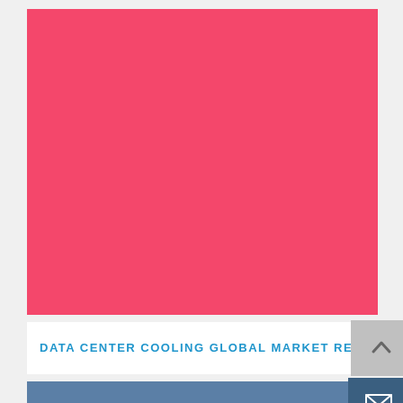[Figure (illustration): Large solid pink/coral colored rectangular block filling the upper portion of the page]
DATA CENTER COOLING GLOBAL MARKET REPORT 2...
[Figure (illustration): Blue horizontal bar at the bottom of the page with an envelope/email icon button on the right side]